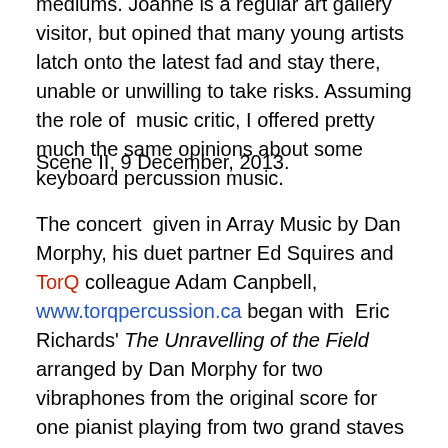mediums. Joanne is a regular art gallery visitor, but opined that many young artists latch onto the latest fad and stay there, unable or unwilling to take risks. Assuming the role of music critic, I offered pretty much the same opinions about some keyboard percussion music.
Scene II, 9 December, 2013.
The concert given in Array Music by Dan Morphy, his duet partner Ed Squires and TorQ colleague Adam Canpbell, www.torqpercussion.ca began with Eric Richards' The Unravelling of the Field arranged by Dan Morphy for two vibraphones from the original score for one pianist playing from two grand staves in four simultaneous, but different tempi. This work has been performed with many combinations of resonant percussion instruments, all, including Morphy's rendition, engaging and musically satisfying in some extent.